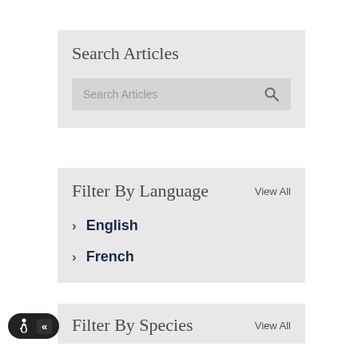Search Articles
[Figure (screenshot): Search Articles input box with placeholder text 'Search Articles' and a magnifying glass search icon]
Filter By Language
View All
English
French
Filter By Species
View All
[Figure (illustration): Accessibility widget with wheelchair icon and collapse arrows button]